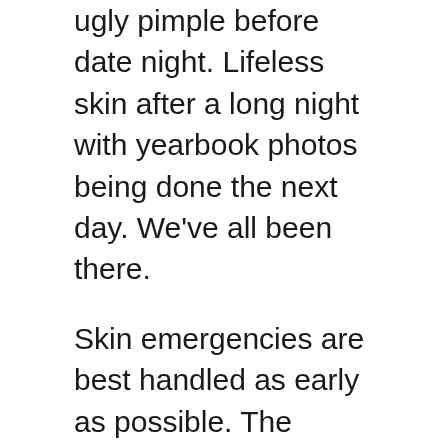ugly pimple before date night. Lifeless skin after a long night with yearbook photos being done the next day. We've all been there.
Skin emergencies are best handled as early as possible. The sooner you take action, the better results you'll see. Treating your acne as soon as it comes up won't give it a chance to develop and further inflame your skin. Fresh pimples are easier to handle than heavily inflamed and deeply rooted ones that take time to mature. Another example is stretch marks — it's easier to remove newer stretch marks compared to older ones that have matured.
If something comes up, don't neglect it! Half the battle to attaining perfect skin is showing up.
Ignoring the problem until it goes away might work